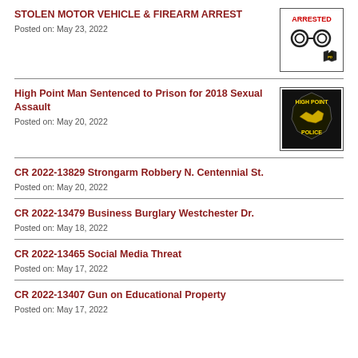STOLEN MOTOR VEHICLE & FIREARM ARREST
Posted on: May 23, 2022
[Figure (illustration): ARRESTED image with handcuffs and police badge]
High Point Man Sentenced to Prison for 2018 Sexual Assault
Posted on: May 20, 2022
[Figure (logo): High Point Police badge/logo on dark background]
CR 2022-13829 Strongarm Robbery N. Centennial St.
Posted on: May 20, 2022
CR 2022-13479 Business Burglary Westchester Dr.
Posted on: May 18, 2022
CR 2022-13465 Social Media Threat
Posted on: May 17, 2022
CR 2022-13407 Gun on Educational Property
Posted on: May 17, 2022